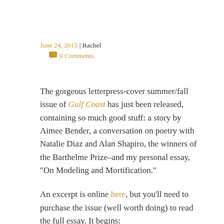June 24, 2015 | Rachel
💬 0 Comments
The gorgeous letterpress-cover summer/fall issue of Gulf Coast has just been released, containing so much good stuff: a story by Aimee Bender, a conversation on poetry with Natalie Diaz and Alan Shapiro, the winners of the Barthelme Prize–and my personal essay, “On Modeling and Mortification.”
An excerpt is online here, but you’ll need to purchase the issue (well worth doing) to read the full essay. It begins: